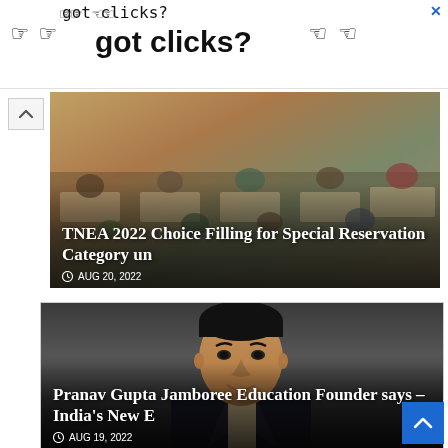[Figure (screenshot): Advertisement banner with pixel art hands/arrows pointing and text 'got clicks?' with X close button]
[Figure (photo): Students sitting in exam hall wearing masks, writing on papers. Article card with title overlay.]
TNEA 2022 Choice Filling for Special Reservation Category un
AUG 20, 2022
[Figure (photo): Portrait photo of Pranav Gupta, a middle-aged man in dark suit with tie, smiling. Article card with title overlay.]
Pranav Gupta Jamboree Education Founder says – India’s New E
AUG 19, 2022